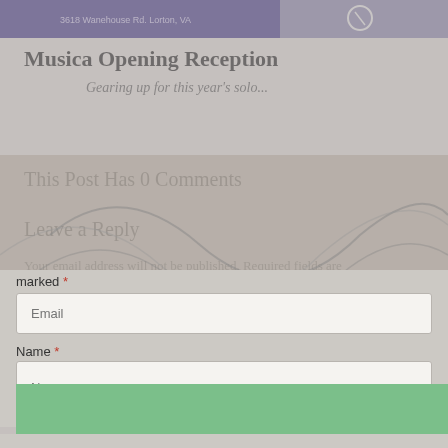[Figure (screenshot): Top banner image showing a dark blue/purple background with address text '3618 Warehouse Rd, Lorton, VA' and a partial image on the right side]
Musica Opening Reception
Gearing up for this year's solo...
This Post Has 0 Comments
Leave a Reply
Your email address will not be published. Required fields are marked *
[Figure (screenshot): Modal overlay popup with swirl decorative background showing "Britt's Visualizations of Music" title and "Insights, News, and Upcoming Shows" subtitle with a close (×) button, overlaid on the page content]
marked *
Email (placeholder)
Name *
Name (placeholder)
Email *
SUBSCRIBE